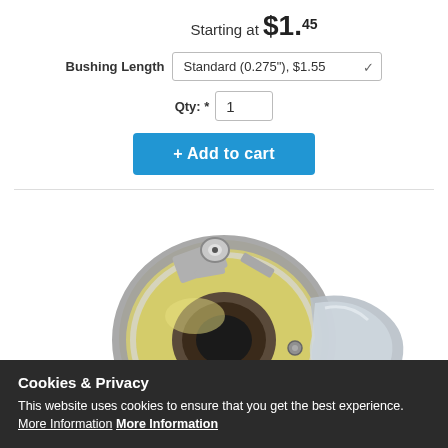Starting at $1.45
Bushing Length: Standard (0.275"), $1.55
Qty: * 1
+ Add to cart
[Figure (photo): Close-up photo of a metal and plastic electrical bushing/socket component with chrome finish, yellow/cream plastic insulator, and metal mounting bracket]
Cookies & Privacy
This website uses cookies to ensure that you get the best experience. More Information More Information